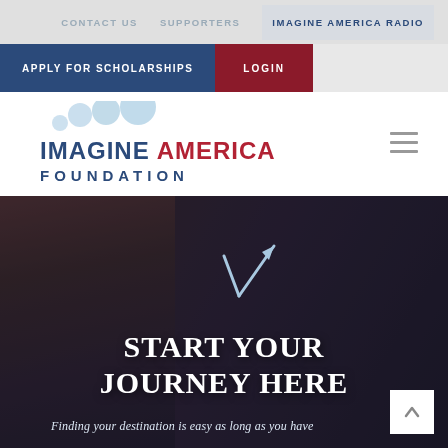CONTACT US   SUPPORTERS   IMAGINE AMERICA RADIO
APPLY FOR SCHOLARSHIPS   LOGIN
[Figure (logo): Imagine America Foundation logo with blue and red text and light blue bubble circles above]
[Figure (photo): Dark hero image with woman's face, fork/arrow icon, text START YOUR JOURNEY HERE, and subtitle Finding your destination is easy as long as you have]